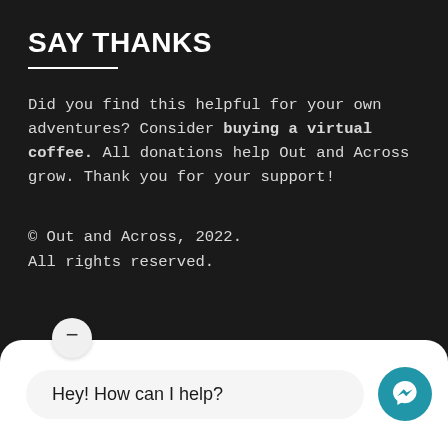SAY THANKS
Did you find this helpful for your own adventures? Consider buying a virtual coffee. All donations help Out and Across grow. Thank you for your support!
© Out and Across, 2022.
All rights reserved.
[Figure (screenshot): Chat widget showing minimize button, 'Hey! How can I help?' chat bubble, and Messenger icon button]